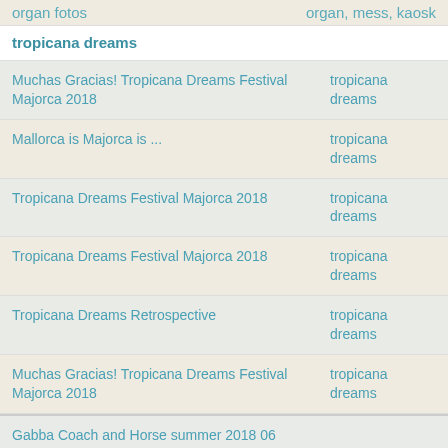organ fotos
organ, mess, kaosk
tropicana dreams
| Title | Category |
| --- | --- |
| Muchas Gracias! Tropicana Dreams Festival Majorca 2018 | tropicana dreams |
| Mallorca is Majorca is ... | tropicana dreams |
| Tropicana Dreams Festival Majorca 2018 | tropicana dreams |
| Tropicana Dreams Festival Majorca 2018 | tropicana dreams |
| Tropicana Dreams Retrospective | tropicana dreams |
| Muchas Gracias! Tropicana Dreams Festival Majorca 2018 | tropicana dreams |
Gabba Coach and Horse summer 2018 06
Vegan Fruhstück @ Unter Druck Cafe Do.22.08 11:00 - 15:00